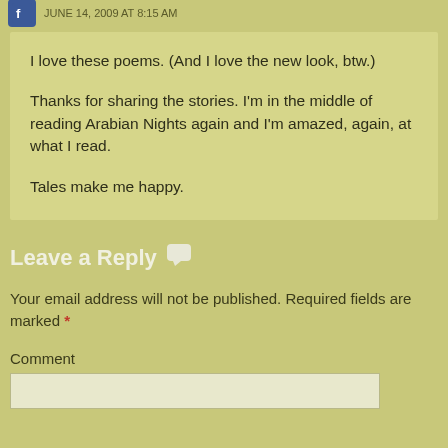JUNE 14, 2009 AT 8:15 AM
I love these poems. (And I love the new look, btw.)
Thanks for sharing the stories. I'm in the middle of reading Arabian Nights again and I'm amazed, again, at what I read.
Tales make me happy.
Leave a Reply
Your email address will not be published. Required fields are marked *
Comment